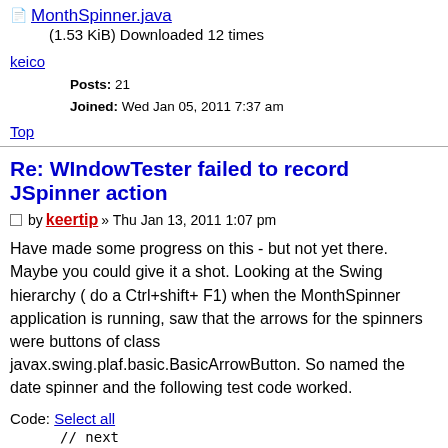📄 MonthSpinner.java (1.53 KiB) Downloaded 12 times
keico
Posts: 21
Joined: Wed Jan 05, 2011 7:37 am
Top
Re: WIndowTester failed to record JSpinner action
by keertip » Thu Jan 13, 2011 1:07 pm
Have made some progress on this - but not yet there. Maybe you could give it a shot. Looking at the Swing hierarchy ( do a Ctrl+shift+ F1) when the MonthSpinner application is running, saw that the arrows for the spinners were buttons of class javax.swing.plaf.basic.BasicArrowButton. So named the date spinner and the following test code worked.
Code: Select all
// next